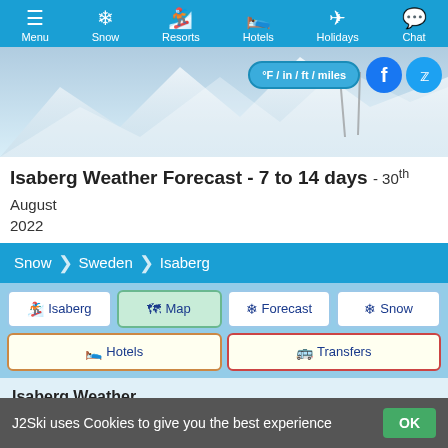Menu | Snow | Resorts | Hotels | Holidays | Chat
[Figure (screenshot): Snowy mountain hero image with units toggle button (°F / in / ft / miles) and Facebook and Twitter social icons]
Isaberg Weather Forecast - 7 to 14 days - 30th August 2022
Snow > Sweden > Isaberg
Isaberg | Map | Forecast | Snow | Hotels | Transfers
Isaberg Weather
Two Week Weather Forecast for Isaberg
Isaberg, Sweden (101m to 237m) from 30th August 2022
J2Ski uses Cookies to give you the best experience OK